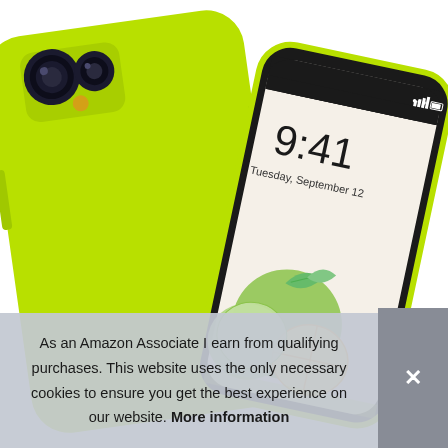[Figure (photo): Product photo showing two yellow-green (neon lime) iPhone cases. One case is shown from the back at an angle on the left, and the other is shown from the front at an angle on the right, displaying an iPhone lock screen showing 9:41 Tuesday, September 12, with a lemon/lime wallpaper illustration. Background is white.]
As an Amazon Associate I earn from qualifying purchases. This website uses the only necessary cookies to ensure you get the best experience on our website. More information